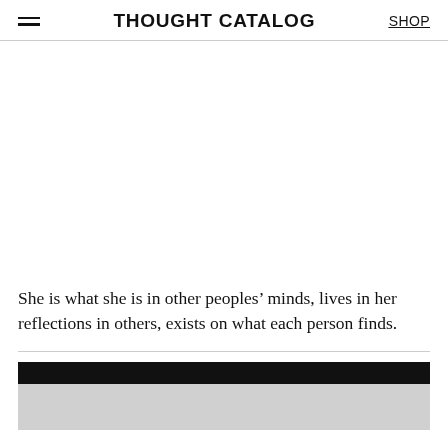THOUGHT CATALOG  SHOP
She is what she is in other peoples’ minds, lives in her reflections in others, exists on what each person finds.
[Figure (photo): Partially visible image with a black header bar and gray placeholder area below, appearing to be a loading or cropped photo at the bottom of the page.]